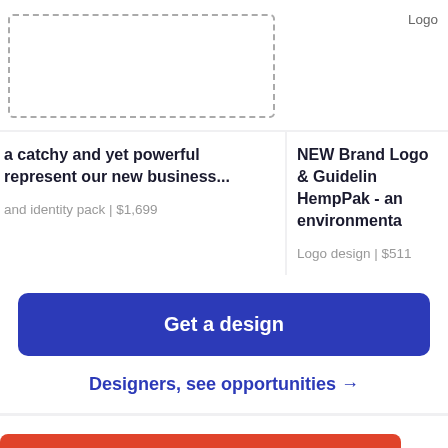[Figure (screenshot): Top section showing two card previews: left card has a dashed placeholder image area, right card shows 'Logo' label]
a catchy and yet powerful represent our new business...
and identity pack | $1,699
NEW Brand Logo & Guidelines HempPak - an environmenta
Logo design | $511
Get a design
Designers, see opportunities →
Design tips in your inbox?